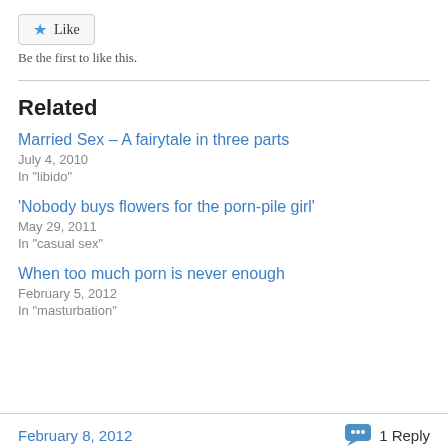[Figure (other): Like button with star icon]
Be the first to like this.
Related
Married Sex – A fairytale in three parts
July 4, 2010
In "libido"
'Nobody buys flowers for the porn-pile girl'
May 29, 2011
In "casual sex"
When too much porn is never enough
February 5, 2012
In "masturbation"
February 8, 2012   1 Reply